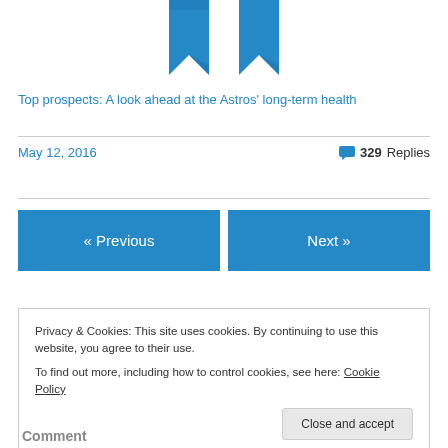[Figure (illustration): Blue ribbon bookmark icon, partially cropped at top]
Top prospects: A look ahead at the Astros' long-term health
May 12, 2016   💬 329 Replies
« Previous   Next »
Privacy & Cookies: This site uses cookies. By continuing to use this website, you agree to their use.
To find out more, including how to control cookies, see here: Cookie Policy
Close and accept
Comment